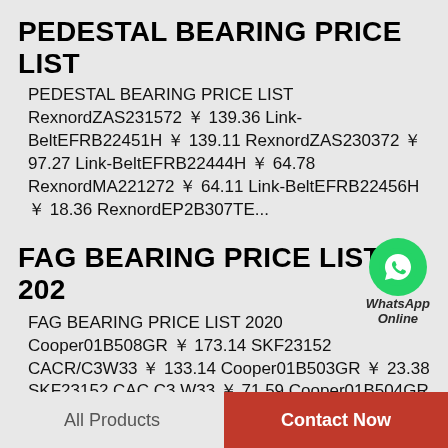PEDESTAL BEARING PRICE LIST
PEDESTAL BEARING PRICE LIST RexnordZAS231572 ￥ 139.36 Link-BeltEFRB22451H ￥ 139.11 RexnordZAS230372 ￥ 97.27 Link-BeltEFRB22444H ￥ 64.78 RexnordMA221272 ￥ 64.11 Link-BeltEFRB22456H ￥ 18.36 RexnordEP2B307TE...
FAG BEARING PRICE LIST 202
[Figure (logo): WhatsApp green circle icon with phone symbol, labeled WhatsApp Online]
FAG BEARING PRICE LIST 2020 Cooper01B508GR ￥ 173.14 SKF23152 CACR/C3W33 ￥ 133.14 Cooper01B503GR ￥ 23.38 SKF23152 CAC C3 W33 ￥ 71.59 Cooper01B504GR ￥ 148.51 SKF23976 CC W33 ￥ 55.25 Cooper01B411GR ￥ 54.31...
All Products | Contact Now